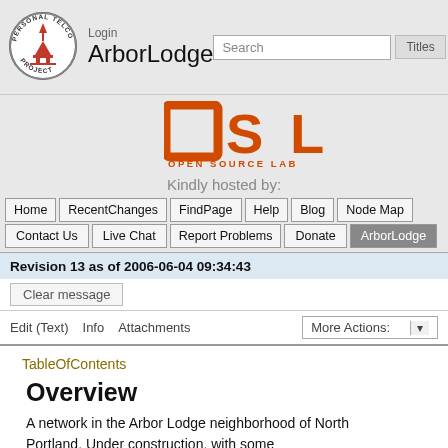Personal Telco Project — Login ArborLodge
[Figure (logo): Personal Telco Project circular logo with red tower/antenna graphic]
ArborLodge
[Figure (logo): OSL Open Source Lab logo in orange]
Kindly hosted by:
Home | RecentChanges | FindPage | Help | Blog | Node Map | Contact Us | Live Chat | Report Problems | Donate | ArborLodge
Revision 13 as of 2006-06-04 09:34:43
Clear message
Edit (Text)   Info   Attachments   More Actions:
TableOfContents
Overview
A network in the Arbor Lodge neighborhood of North Portland. Under construction, with some